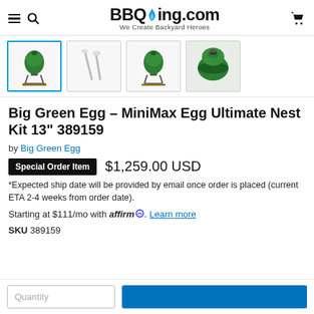BBQing.com — We Create Backyard Heroes
[Figure (screenshot): Four product thumbnail images: 1) MiniMax Egg on nest stand, 2) Accessories/tools, 3) MiniMax Egg on stand from front, 4) Close-up of MiniMax Egg lid]
Big Green Egg – MiniMax Egg Ultimate Nest Kit 13" 389159
by Big Green Egg
Special Order Item   $1,259.00 USD
*Expected ship date will be provided by email once order is placed (current ETA 2-4 weeks from order date).
Starting at $111/mo with affirm. Learn more
SKU 389159